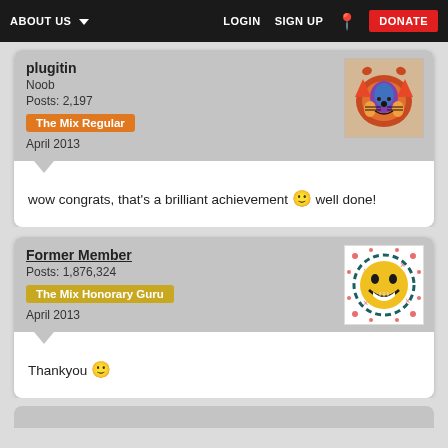ABOUT US  LOGIN  SIGN UP  DONATE
plugitin
Noob
Posts: 2,197
The Mix Regular
April 2013
wow congrats, that's a brilliant achievement 🙂 well done!
Former Member
Posts: 1,876,324
The Mix Honorary Guru
April 2013
Thankyou 🙂